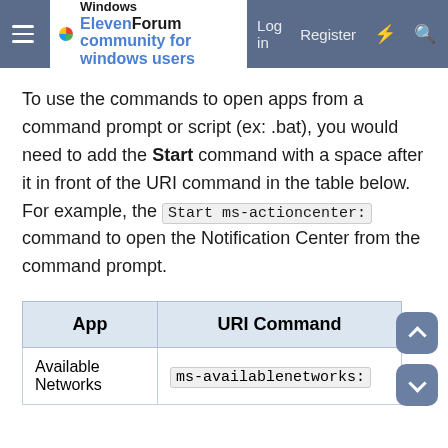Windows ElevenForum | Log in | Register
To use the commands to open apps from a command prompt or script (ex: .bat), you would need to add the Start command with a space after it in front of the URI command in the table below. For example, the Start ms-actioncenter: command to open the Notification Center from the command prompt.
| App | URI Command |
| --- | --- |
| Available Networks | ms-availablenetworks: |